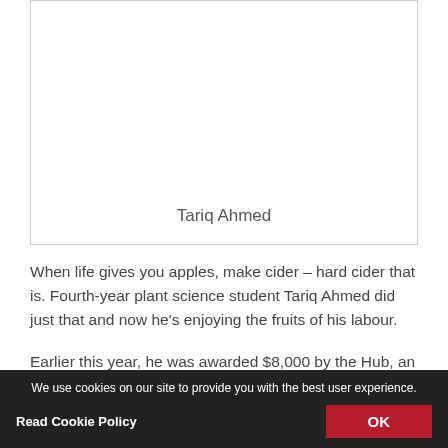[Figure (photo): Photo placeholder box with caption 'Tariq Ahmed' at the bottom center]
Tariq Ahmed
When life gives you apples, make cider – hard cider that is. Fourth-year plant science student Tariq Ahmed did just that and now he's enjoying the fruits of his labour.
Earlier this year, he was awarded $8,000 by the Hub, an
We use cookies on our site to provide you with the best user experience.
Read Cookie Policy   OK